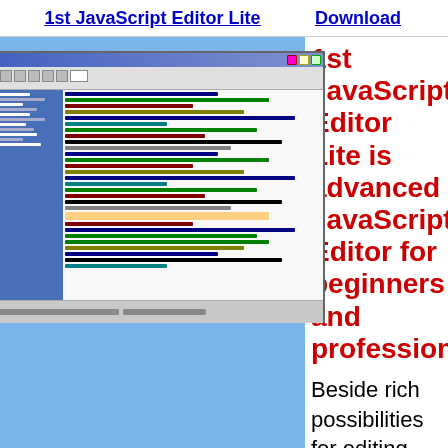1st JavaScript Editor Lite    Download
[Figure (screenshot): Screenshot of 1st JavaScript Editor Lite software showing the editor interface with sidebar, toolbar, and code editing area]
1st JavaScript Editor Lite is advanced JavaScript Editor for beginners and professionals
Beside rich possibilities for editing scripts (JavaScript, HTML, CSS, VBS and ASP(Net) syntax highlighting, etc), IntelliSense and the preview, the program has large snippets library, full collection of HTML tags, HTML attributes, HTML events, JavaScript events and JavaScript functions, attributes, statements and operators (such as window, history, location, navigator, math, string, etc...